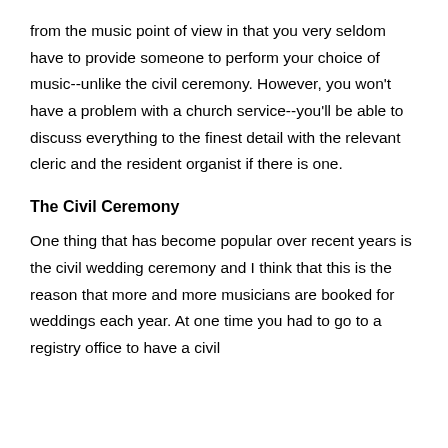from the music point of view in that you very seldom have to provide someone to perform your choice of music--unlike the civil ceremony. However, you won't have a problem with a church service--you'll be able to discuss everything to the finest detail with the relevant cleric and the resident organist if there is one.
The Civil Ceremony
One thing that has become popular over recent years is the civil wedding ceremony and I think that this is the reason that more and more musicians are booked for weddings each year. At one time you had to go to a registry office to have a civil ceremony and I think that the restrictions that placed on the